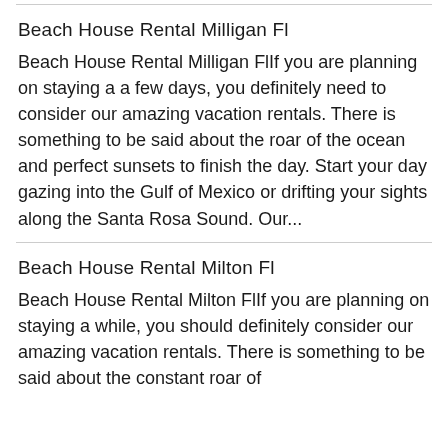Beach House Rental Milligan Fl
Beach House Rental Milligan FlIf you are planning on staying a a few days, you definitely need to consider our amazing vacation rentals. There is something to be said about the roar of the ocean and perfect sunsets to finish the day. Start your day gazing into the Gulf of Mexico or drifting your sights along the Santa Rosa Sound. Our...
Beach House Rental Milton Fl
Beach House Rental Milton FlIf you are planning on staying a while, you should definitely consider our amazing vacation rentals. There is something to be said about the constant roar of